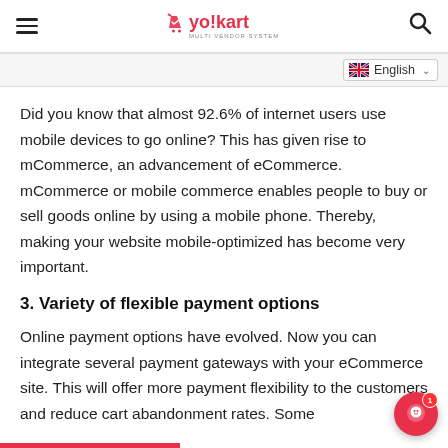yo!kart — navigation header with hamburger menu, logo, and search icon
English — language selector
Did you know that almost 92.6% of internet users use mobile devices to go online? This has given rise to mCommerce, an advancement of eCommerce. mCommerce or mobile commerce enables people to buy or sell goods online by using a mobile phone. Thereby, making your website mobile-optimized has become very important.
3. Variety of flexible payment options
Online payment options have evolved. Now you can integrate several payment gateways with your eCommerce site. This will offer more payment flexibility to the customers and reduce cart abandonment rates. Some